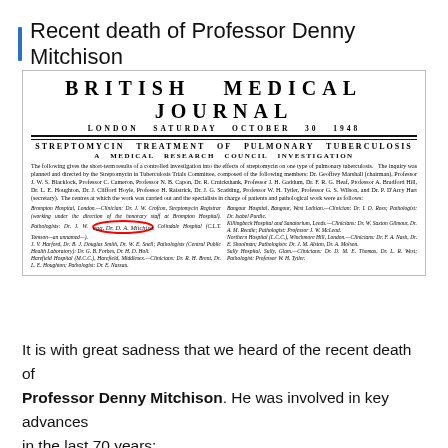Recent death of Professor Denny Mitchison
[Figure (screenshot): Scanned image of the British Medical Journal header, London Saturday October 30 1948, with article title 'Streptomycin Treatment of Pulmonary Tuberculosis: A Medical Research Council Investigation' and body text listing committee members and hospitals. A red circle annotation highlights 'Dr. D. A. Mitchison' in the left column.]
It is with great sadness that we heard of the recent death of Professor Denny Mitchison. He was involved in key advances in the last 70 years: